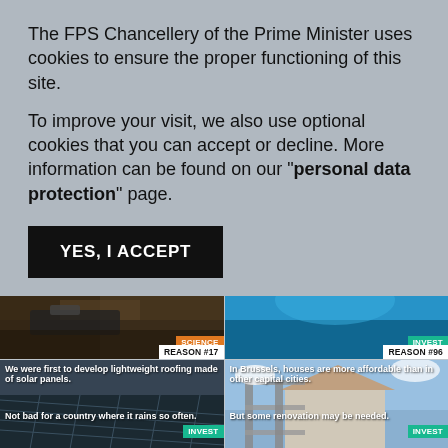The FPS Chancellery of the Prime Minister uses cookies to ensure the proper functioning of this site.
To improve your visit, we also use optional cookies that you can accept or decline. More information can be found on our "personal data protection" page.
YES, I ACCEPT
[Figure (photo): Top-left image card: dark soil/ground photo with orange SCIENCE badge and white REASON #17 label. Text overlay: 'It makes up for our lack of altitude.']
[Figure (photo): Top-right image card: blue blurred water/sky photo with green INVEST badge and white REASON #96 label. Text overlay: 'where you can get away from it all.']
[Figure (photo): Bottom-left image card: solar panels on rooftop in rain. Text overlay: 'We were first to develop lightweight roofing made of solar panels.' and 'Not bad for a country where it rains so often.' Green INVEST badge.]
[Figure (photo): Bottom-right image card: house with scaffolding. Text overlay: 'In Brussels, houses are more affordable than in other capital cities.' and 'But some renovation may be needed.' Green INVEST badge.]